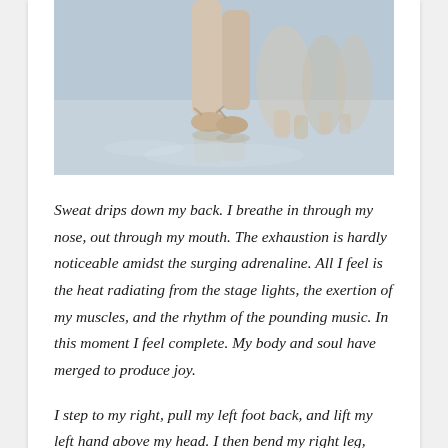[Figure (photo): Ballet dancers on pointe, showing their feet and legs in ballet shoes on a reflective studio floor, with several dancers in the background, soft focus]
Sweat drips down my back. I breathe in through my nose, out through my mouth. The exhaustion is hardly noticeable amidst the surging adrenaline. All I feel is the heat radiating from the stage lights, the exertion of my muscles, and the rhythm of the pounding music. In this moment I feel complete. My body and soul have merged to produce joy.
I step to my right, pull my left foot back, and lift my left hand above my head. I then bend my right leg,